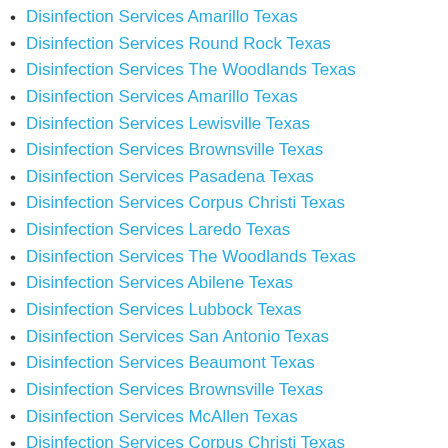Disinfection Services Amarillo Texas
Disinfection Services Round Rock Texas
Disinfection Services The Woodlands Texas
Disinfection Services Amarillo Texas
Disinfection Services Lewisville Texas
Disinfection Services Brownsville Texas
Disinfection Services Pasadena Texas
Disinfection Services Corpus Christi Texas
Disinfection Services Laredo Texas
Disinfection Services The Woodlands Texas
Disinfection Services Abilene Texas
Disinfection Services Lubbock Texas
Disinfection Services San Antonio Texas
Disinfection Services Beaumont Texas
Disinfection Services Brownsville Texas
Disinfection Services McAllen Texas
Disinfection Services Corpus Christi Texas
Disinfection Services Tyler Texas